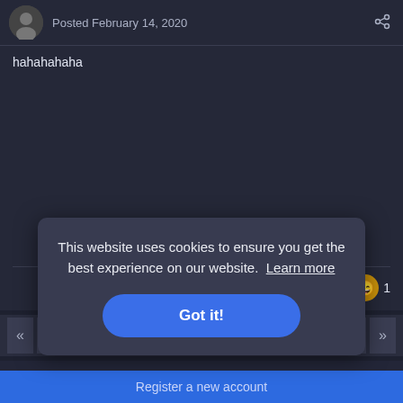Posted February 14, 2020
hahahahaha
🏆 1   😄 1
« PREV   Page 1 of 19   NEXT »
Create an account or sign in to comment
This website uses cookies to ensure you get the best experience on our website. Learn more
Got it!
Register a new account